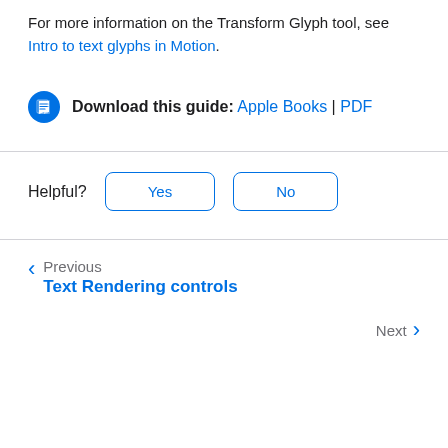For more information on the Transform Glyph tool, see Intro to text glyphs in Motion.
Download this guide: Apple Books | PDF
Helpful? Yes No
Previous
Text Rendering controls
Next